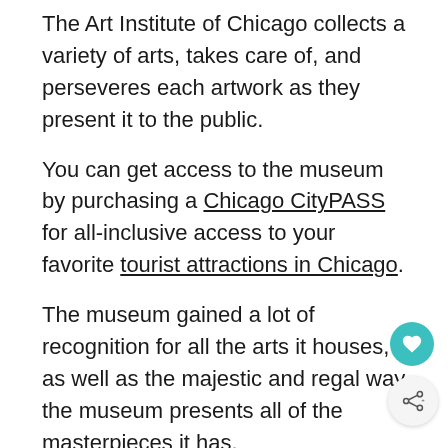The Art Institute of Chicago collects a variety of arts, takes care of, and perseveres each artwork as they present it to the public.
You can get access to the museum by purchasing a Chicago CityPASS for all-inclusive access to your favorite tourist attractions in Chicago.
The museum gained a lot of recognition for all the arts it houses, as well as the majestic and regal way the museum presents all of the masterpieces it has.
It has now become a popular and interesting tourist destination in Chicago.